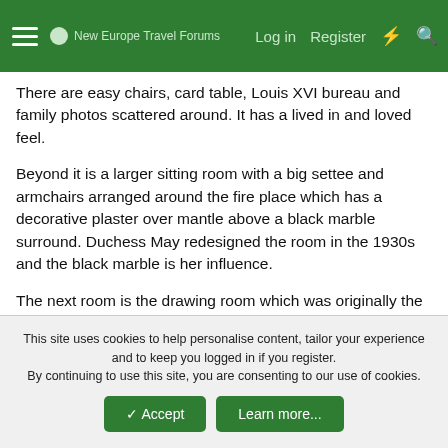New Europe Travel Forums | Log in | Register
There are easy chairs, card table, Louis XVI bureau and family photos scattered around. It has a lived in and loved feel.
Beyond it is a larger sitting room with a big settee and armchairs arranged around the fire place which has a decorative plaster over mantle above a black marble surround. Duchess May redesigned the room in the 1930s and the black marble is her influence.
The next room is the drawing room which was originally the state bedroom but was altered under the instruction of Duchess May to accommodate a set of 17thC Brussels tapestries known as the Triumph of the Gods, inherited after the death of her mother. The tapestry on the east wall had to be cut to fit round the...
This site uses cookies to help personalise content, tailor your experience and to keep you logged in if you register.
By continuing to use this site, you are consenting to our use of cookies.